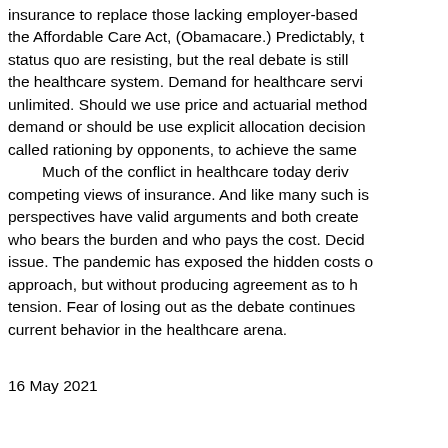insurance to replace those lacking employer-based the Affordable Care Act, (Obamacare.) Predictably, t status quo are resisting, but the real debate is still the healthcare system. Demand for healthcare servi unlimited. Should we use price and actuarial method demand or should be use explicit allocation decision called rationing by opponents, to achieve the same Much of the conflict in healthcare today deriv competing views of insurance. And like many such is perspectives have valid arguments and both create who bears the burden and who pays the cost. Decid issue. The pandemic has exposed the hidden costs c approach, but without producing agreement as to h tension. Fear of losing out as the debate continues current behavior in the healthcare arena.
16 May 2021